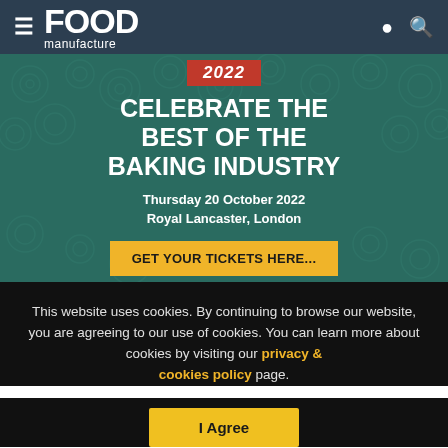FOOD manufacture
[Figure (illustration): Baking Industry Awards 2022 banner: teal background with swirl pattern, red 2022 badge, white text 'CELEBRATE THE BEST OF THE BAKING INDUSTRY', date Thursday 20 October 2022, Royal Lancaster, London, yellow button GET YOUR TICKETS HERE...]
This website uses cookies. By continuing to browse our website, you are agreeing to our use of cookies. You can learn more about cookies by visiting our privacy & cookies policy page.
I Agree